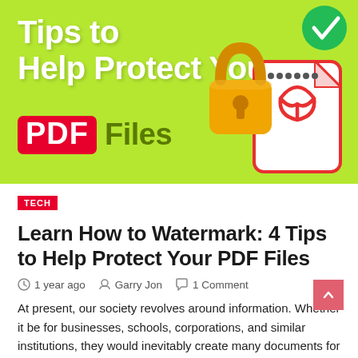[Figure (illustration): Hero banner with lime green background showing 'Tips to Help Protect Your PDF Files' text in white/grey bold font with a gold padlock icon, a white PDF document icon with red Acrobat logo, dotted password line, and a green circle with white checkmark in the top right corner.]
TECH
Learn How to Watermark: 4 Tips to Help Protect Your PDF Files
1 year ago   Garry Jon   1 Comment
At present, our society revolves around information. Whether it be for businesses, schools, corporations, and similar institutions, they would inevitably create many documents for numerous reasons and purposes. The